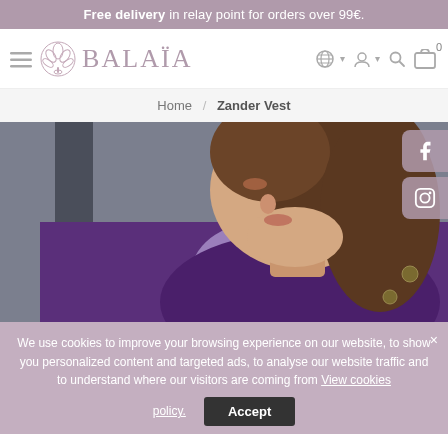Free delivery in relay point for orders over 99€.
[Figure (screenshot): Balaïa brand navigation bar with hamburger menu, tree logo, brand name BALAÏA, globe icon, user icon, search icon, and cart icon with 0 badge]
Home / Zander Vest
[Figure (photo): Product photo: woman in profile view wearing a purple/violet velvet jacket over a light purple knit sweater, looking upward, dark hair, against grey background. Facebook and Instagram social sharing buttons on the right edge.]
We use cookies to improve your browsing experience on our website, to show you personalized content and targeted ads, to analyse our website traffic and to understand where our visitors are coming from View cookies policy. Accept